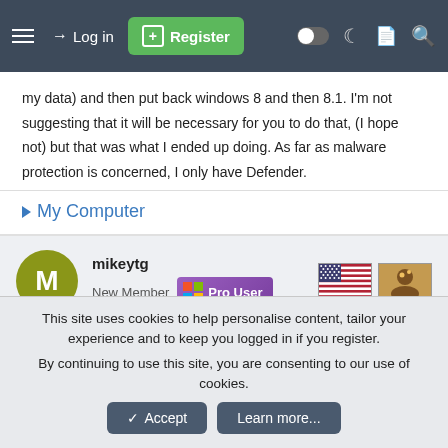Log in | Register
my data) and then put back windows 8 and then 8.1. I'm not suggesting that it will be necessary for you to do that, (I hope not) but that was what I ended up doing. As far as malware protection is concerned, I only have Defender.
▶ My Computer
mikeytg
New Member
Pro User
Nov 21, 2013
#7
Maybe this thread will help...
This site uses cookies to help personalise content, tailor your experience and to keep you logged in if you register.
By continuing to use this site, you are consenting to our use of cookies.
Accept  Learn more...